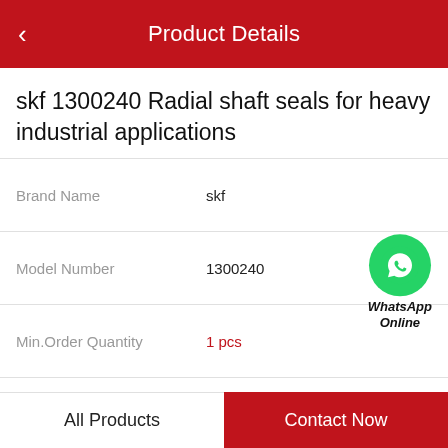Product Details
skf 1300240 Radial shaft seals for heavy industrial applications
| Brand Name | skf |
| Model Number | 1300240 |
| Min.Order Quantity | 1 pcs |
| Price | Negotiable |
[Figure (logo): WhatsApp green circle icon with phone handset, labeled WhatsApp Online]
Product Features
All Products   Contact Now